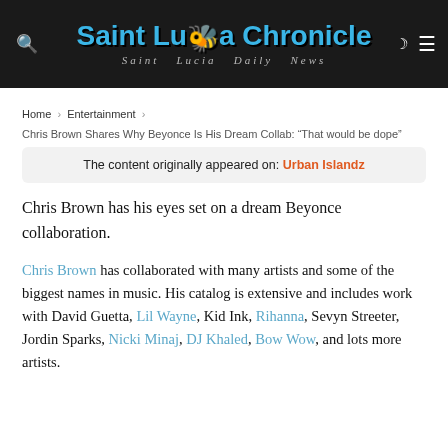[Figure (logo): Saint Lucia Chronicle newspaper logo with blue text and tagline 'Saint Lucia Daily News' on dark background]
Home > Entertainment > Chris Brown Shares Why Beyonce Is His Dream Collab: "That would be dope"
The content originally appeared on: Urban Islandz
Chris Brown has his eyes set on a dream Beyonce collaboration.
Chris Brown has collaborated with many artists and some of the biggest names in music. His catalog is extensive and includes work with David Guetta, Lil Wayne, Kid Ink, Rihanna, Sevyn Streeter, Jordin Sparks, Nicki Minaj, DJ Khaled, Bow Wow, and lots more artists.